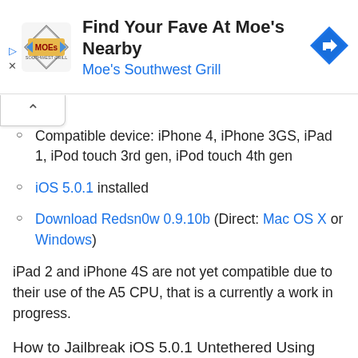[Figure (infographic): Moe's Southwest Grill advertisement banner with logo, text 'Find Your Fave At Moe's Nearby' and 'Moe's Southwest Grill', and a blue navigation/directions icon on the right.]
Compatible device: iPhone 4, iPhone 3GS, iPad 1, iPod touch 3rd gen, iPod touch 4th gen
iOS 5.0.1 installed
Download Redsn0w 0.9.10b (Direct: Mac OS X or Windows)
iPad 2 and iPhone 4S are not yet compatible due to their use of the A5 CPU, that is a currently a work in progress.
How to Jailbreak iOS 5.0.1 Untethered Using Redsn0w